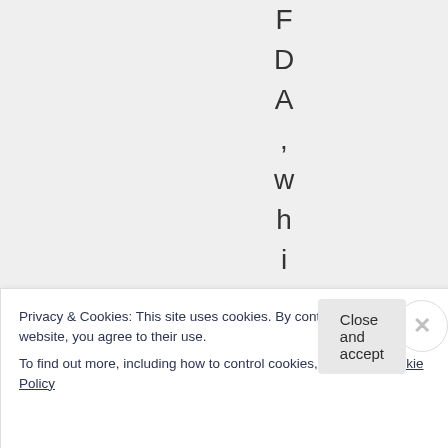F D A , w h i c h d o
Privacy & Cookies: This site uses cookies. By continuing to use this website, you agree to their use.
To find out more, including how to control cookies, see here: Cookie Policy
Close and accept